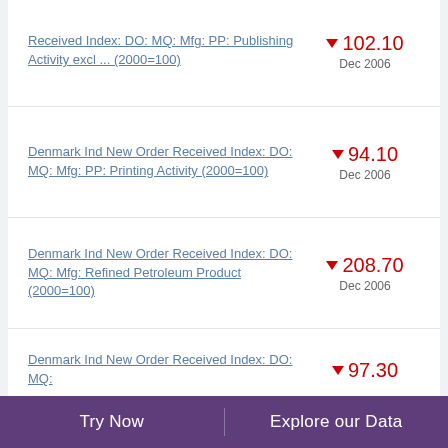Received Index: DO: MQ: Mfg: PP: Publishing Activity excl ... (2000=100)
Denmark Ind New Order Received Index: DO: MQ: Mfg: PP: Printing Activity (2000=100)
Denmark Ind New Order Received Index: DO: MQ: Mfg: Refined Petroleum Product (2000=100)
Denmark Ind New Order Received Index: DO: MQ: ...
Try Now  |  Explore our Data